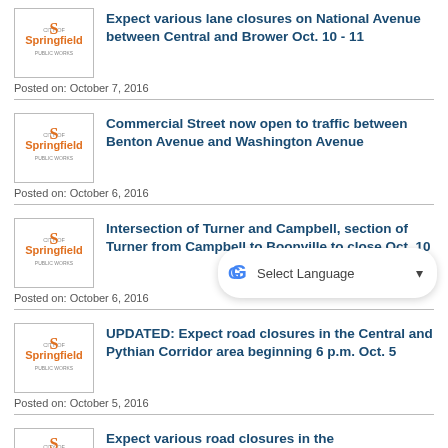Expect various lane closures on National Avenue between Central and Brower Oct. 10 - 11
Posted on: October 7, 2016
Commercial Street now open to traffic between Benton Avenue and Washington Avenue
Posted on: October 6, 2016
Intersection of Turner and Campbell, section of Turner from Campbell to Boonville to close Oct. 10
Posted on: October 6, 2016
UPDATED: Expect road closures in the Central and Pythian Corridor area beginning 6 p.m. Oct. 5
Posted on: October 5, 2016
Expect various road closures in the